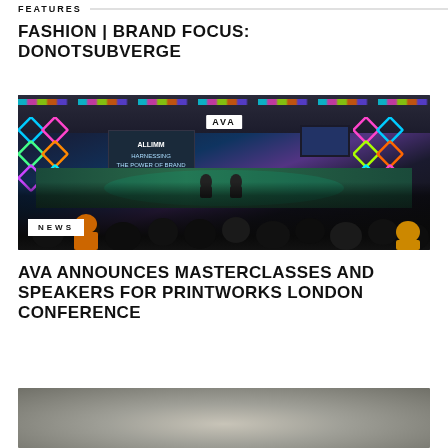FEATURES
FASHION | BRAND FOCUS: DONOTSUBVERGE
[Figure (photo): Indoor event venue with colorful LED diamond pattern backdrop on stage, AVA logo visible, crowd of attendees seated watching speakers on stage, industrial ceiling with lighting rigs, neon colored lights]
NEWS
AVA ANNOUNCES MASTERCLASSES AND SPEAKERS FOR PRINTWORKS LONDON CONFERENCE
[Figure (photo): Partial image at bottom of page, appears to show a person or object, cut off]